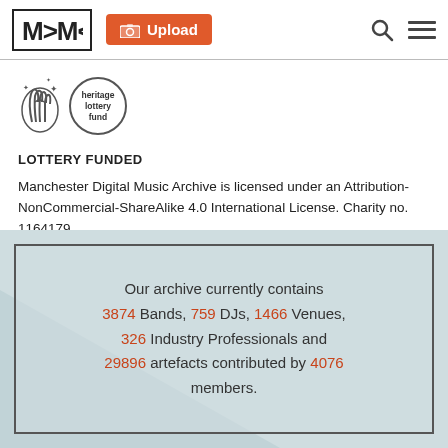MDMA | Upload | Search | Menu
[Figure (logo): Heritage Lottery Fund logo with crossed fingers and circular text]
LOTTERY FUNDED
Manchester Digital Music Archive is licensed under an Attribution-NonCommercial-ShareAlike 4.0 International License. Charity no. 1164179
Our archive currently contains 3874 Bands, 759 DJs, 1466 Venues, 326 Industry Professionals and 29896 artefacts contributed by 4076 members.